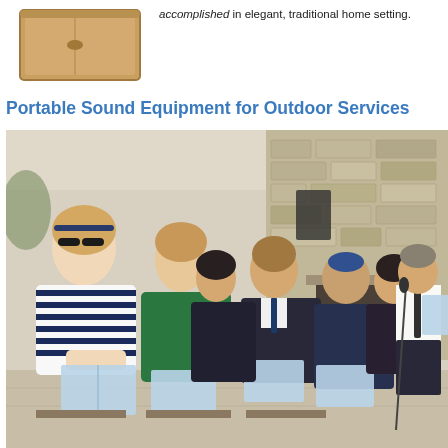[Figure (photo): Product image of what appears to be a wooden box or case, partially visible at top left]
accomplished in elegant, traditional home setting.
Portable Sound Equipment for Outdoor Services
[Figure (photo): Outdoor service scene: several people seated in chairs reading from papers/booklets while a man stands at a microphone on a stand speaking to them. The setting appears to be a covered outdoor pavilion with a stone fireplace/wall in the background. The seated attendees include women in striped and green clothing and men in dark suits.]